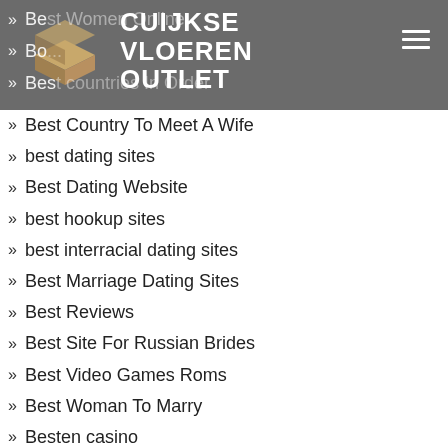CUIJKSE VLOEREN OUTLET
Best Women Online
Best ...
Best Countries In Order
Best Country To Meet A Wife
best dating sites
Best Dating Website
best hookup sites
best interracial dating sites
Best Marriage Dating Sites
Best Reviews
Best Site For Russian Brides
Best Video Games Roms
Best Woman To Marry
Besten casino